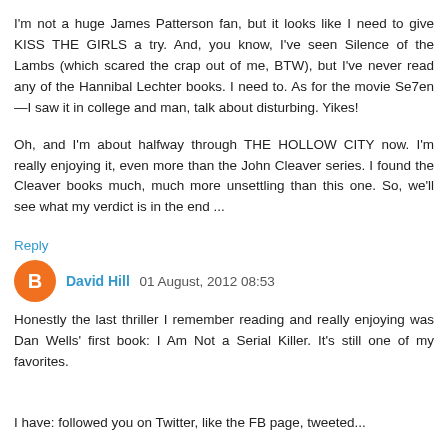I'm not a huge James Patterson fan, but it looks like I need to give KISS THE GIRLS a try. And, you know, I've seen Silence of the Lambs (which scared the crap out of me, BTW), but I've never read any of the Hannibal Lechter books. I need to. As for the movie Se7en—I saw it in college and man, talk about disturbing. Yikes!
Oh, and I'm about halfway through THE HOLLOW CITY now. I'm really enjoying it, even more than the John Cleaver series. I found the Cleaver books much, much more unsettling than this one. So, we'll see what my verdict is in the end ...
Reply
David Hill 01 August, 2012 08:53
Honestly the last thriller I remember reading and really enjoying was Dan Wells' first book: I Am Not a Serial Killer. It's still one of my favorites.
I have: followed you on Twitter, like the FB page, tweeted...